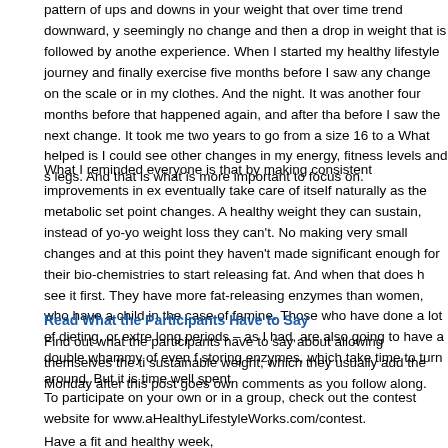pattern of ups and downs in your weight that over time trend downward, y seemingly no change and then a drop in weight that is followed by anothe experience. When I started my healthy lifestyle journey and finally exercise five months before I saw any change on the scale or in my clothes. And the night. It was another four months before that happened again, and after tha before I saw the next change. It took me two years to go from a size 16 to a What helped is I could see other changes in my energy, fitness levels and s legs. And that is what is more important to focus on.
What I reminded everyone is that by making consistent improvements in ex eventually take care of itself naturally as the metabolic set point changes. A healthy weight they can sustain, instead of yo-yo weight loss they can't. No making very small changes and at this point they haven't made significant enough for their bio-chemistries to start releasing fat. And when that does h see it first. They have more fat-releasing enzymes than women, who have a child in the case of famine. Those who have done a lot of dieting, or extre long periods – as I had, are also going to have a double whammy of even f storing enzymes, which take time to turn around. But it is time well spent.
Read What the Participants Have to Say
Find out what the participants have to say about allowing themselves the ti sustainable weight, which they usually add the Monday after this post goes own comments as you follow along.
To participate on your own or in a group, check out the contest website for www.aHealthyLifestyleWorks.com/contest.
Have a fit and healthy week,
Alice
Posted in Blog, Healthy Lifestyle Contest, Healthy Weight, Weight Loss, S...